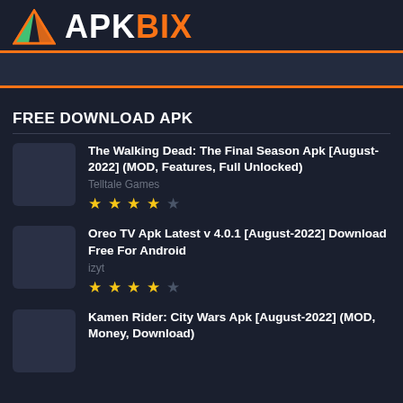[Figure (logo): APKBIX logo with triangle mountain icon in orange/green gradient and bold text APKBIX]
FREE DOWNLOAD APK
The Walking Dead: The Final Season Apk [August-2022] (MOD, Features, Full Unlocked)
Telltale Games
★★★★☆
Oreo TV Apk Latest v 4.0.1 [August-2022] Download Free For Android
izyt
★★★★☆
Kamen Rider: City Wars Apk [August-2022] (MOD, Money, Download)